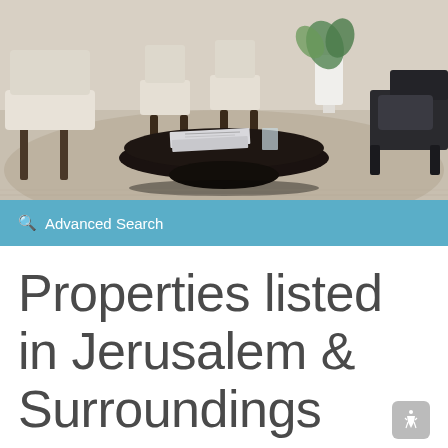[Figure (photo): Interior living room scene with a dark round coffee table with books on top, light-colored upholstered chairs, and a white vase with a plant in the background on a neutral rug.]
Q Advanced Search
Properties listed in Jerusalem & Surroundings